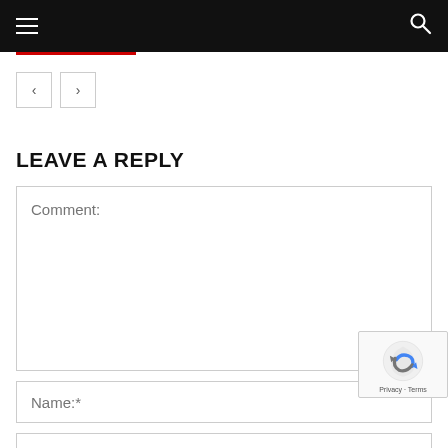Navigation bar with hamburger menu and search icon
[Figure (other): Navigation buttons: left arrow and right arrow]
LEAVE A REPLY
Comment:
Name:*
Email:*